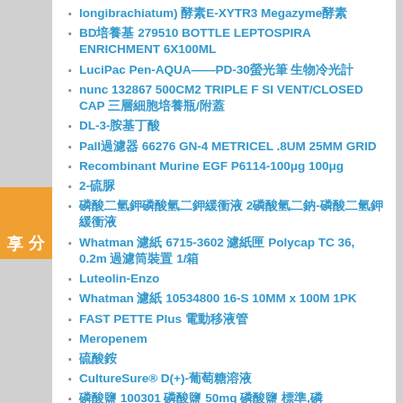longibrachiatum) 酵素E-XYTR3 Megazyme酵素
BD培養基 279510 BOTTLE LEPTOSPIRA ENRICHMENT 6X100ML
LuciPac Pen-AQUA——PD-30螢光筆 生物冷光計
nunc 132867 500CM2 TRIPLE F SI VENT/CLOSED CAP 三層細胞培養瓶/附蓋
DL-3-胺基丁酸
Pall過濾器 66276 GN-4 METRICEL .8UM 25MM GRID
Recombinant Murine EGF P6114-100μg 100μg
2-硫脲
磷酸二氫鉀磷酸氫二鉀緩衝液 2磷酸氫二鈉-磷酸二氫鉀緩衝液
Whatman 濾紙 6715-3602 濾紙匣 Polycap TC 36, 0.2m 過濾筒裝置 1/箱
Luteolin-Enzo
Whatman 濾紙 10534800 16-S 10MM x 100M 1PK
FAST PETTE Plus 電動移液管
Meropenem
硫酸銨
CultureSure® D(+)-葡萄糖溶液
磷酸鹽 100301 磷酸鹽 50mg 磷酸鹽 標準,磷
碳酸鈣 (Ca 1,000)
Penciclovir